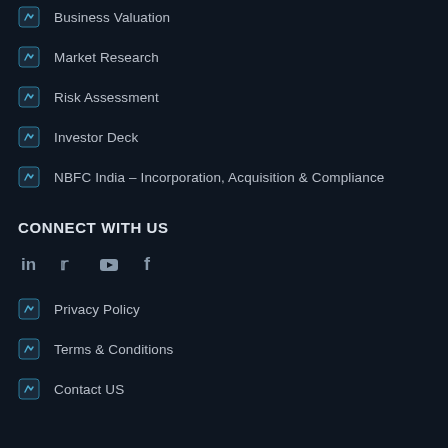Business Valuation
Market Research
Risk Assessment
Investor Deck
NBFC India – Incorporation, Acquisition & Compliance
CONNECT WITH US
[Figure (other): Social media icons: LinkedIn, Twitter, YouTube, Facebook]
Privacy Policy
Terms & Conditions
Contact US